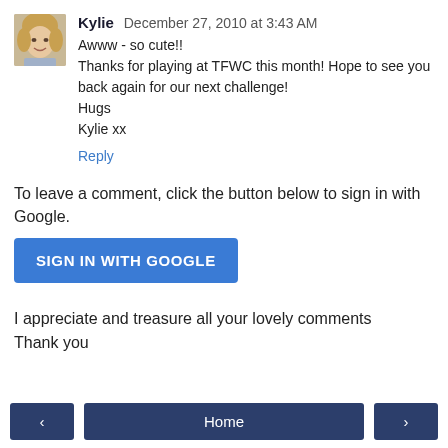[Figure (photo): Small avatar photo of a woman with blonde hair]
Kylie December 27, 2010 at 3:43 AM
Awww - so cute!!
Thanks for playing at TFWC this month! Hope to see you back again for our next challenge!
Hugs
Kylie xx
Reply
To leave a comment, click the button below to sign in with Google.
SIGN IN WITH GOOGLE
I appreciate and treasure all your lovely comments
Thank you
< Home >